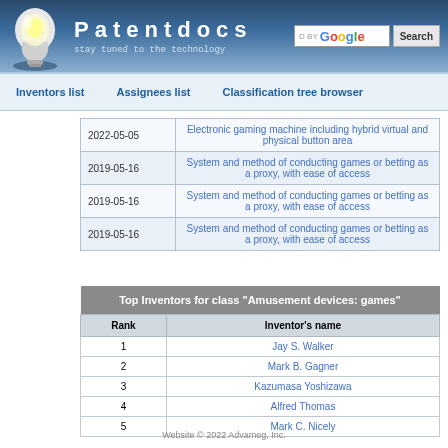[Figure (logo): Patentdocs website header with light bulb logo, site name 'Patentdocs', tagline 'stay tuned to the technology', and Google search bar]
Inventors list    Assignees list    Classification tree browser
| Date | Title |
| --- | --- |
| 2022-05-05 | Electronic gaming machine including hybrid virtual and physical button area |
| 2019-05-16 | System and method of conducting games or betting as a proxy, with ease of access |
| 2019-05-16 | System and method of conducting games or betting as a proxy, with ease of access |
| 2019-05-16 | System and method of conducting games or betting as a proxy, with ease of access |
| Rank | Inventor's name |
| --- | --- |
| 1 | Jay S. Walker |
| 2 | Mark B. Gagner |
| 3 | Kazumasa Yoshizawa |
| 4 | Alfred Thomas |
| 5 | Mark C. Nicely |
Website © 2022 Advameg, Inc.